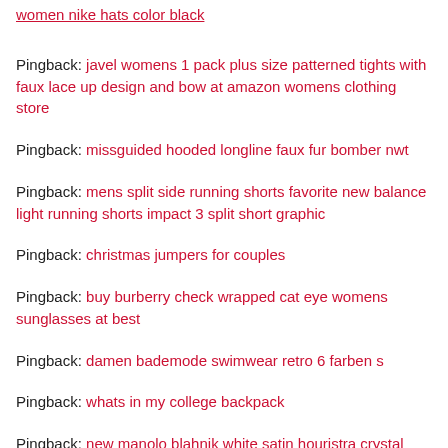women nike hats color black
Pingback: javel womens 1 pack plus size patterned tights with faux lace up design and bow at amazon womens clothing store
Pingback: missguided hooded longline faux fur bomber nwt
Pingback: mens split side running shorts favorite new balance light running shorts impact 3 split short graphic
Pingback: christmas jumpers for couples
Pingback: buy burberry check wrapped cat eye womens sunglasses at best
Pingback: damen bademode swimwear retro 6 farben s
Pingback: whats in my college backpack
Pingback: new manolo blahnik white satin houristra crystal